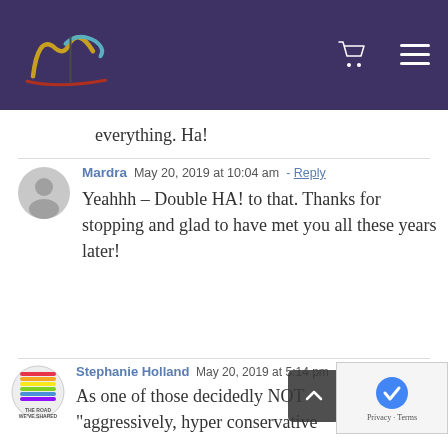Site header with logo and navigation icons
everything. Ha!
Mardra  May 20, 2019 at 10:04 am  - Reply
Yeahhh – Double HA! to that. Thanks for stopping and glad to have met you all these years later!
Stephanie Holland  May 20, 2019 at 5:14 pm  - Reply
As one of those decidedly NOT "aggressively, hyper conservative